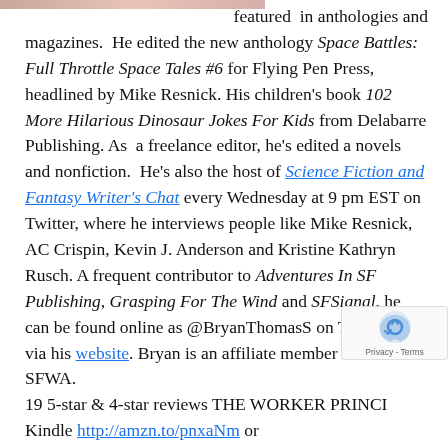[Figure (photo): Partial image strip at top left of page, cropped]
featured in anthologies and magazines. He edited the new anthology Space Battles: Full Throttle Space Tales #6 for Flying Pen Press, headlined by Mike Resnick. His children's book 102 More Hilarious Dinosaur Jokes For Kids from Delabarre Publishing. As a freelance editor, he's edited a novels and nonfiction. He's also the host of Science Fiction and Fantasy Writer's Chat every Wednesday at 9 pm EST on Twitter, where he interviews people like Mike Resnick, AC Crispin, Kevin J. Anderson and Kristine Kathryn Rusch. A frequent contributor to Adventures In SF Publishing, Grasping For The Wind and SFSignal, he can be found online as @BryanThomasS on Twitter or via his website. Bryan is an affiliate member of the SFWA.
19 5-star & 4-star reviews THE WORKER PRINCI Kindle http://amzn.to/pnxaNm or